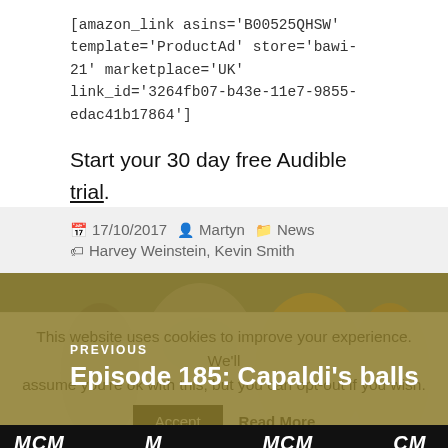[amazon_link asins='B00525QHSW' template='ProductAd' store='bawi-21' marketplace='UK' link_id='3264fb07-b43e-11e7-9855-edac41b17864']
Start your 30 day free Audible trial.
17/10/2017  Martyn  News  Harvey Weinstein, Kevin Smith
[Figure (photo): Navigation block showing PREVIOUS Episode 185: Capaldi's balls over a photo of people in cosplay costumes at MCM event]
This website uses cookies to improve your experience. We'll assume you're ok with this, but you can opt-out if you wish.
Accept  Read More